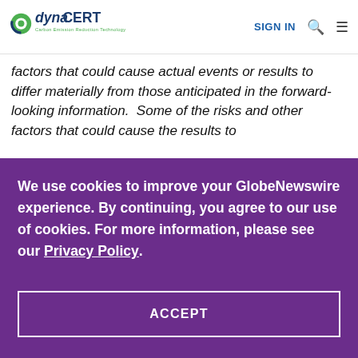dynaCERT Carbon Emission Reduction Technology | SIGN IN
factors that could cause actual events or results to differ materially from those anticipated in the forward-looking information.  Some of the risks and other factors that could cause the results to
We use cookies to improve your GlobeNewswire experience. By continuing, you agree to our use of cookies. For more information, please see our Privacy Policy.
ACCEPT